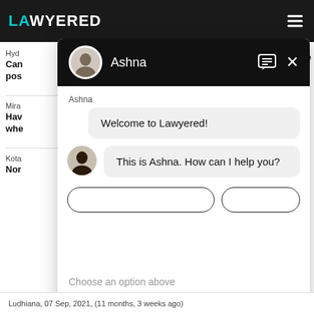[Figure (screenshot): Lawyered website chat widget showing a conversation with agent Ashna. The page has a dark top navigation bar with the Lawyered logo. A chat popup shows a welcome message 'Welcome to Lawyered!' and 'This is Ashna. How can I help you?' with a 'Choose an option above' prompt at the bottom.]
Ashna
Welcome to Lawyered!
This is Ashna. How can I help you?
Choose an option above
Ludhiana,  07 Sep, 2021,  (11 months, 3 weeks ago)